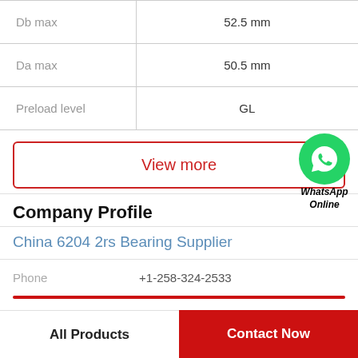| Db max | 52.5 mm |
| Da max | 50.5 mm |
| Preload level | GL |
[Figure (other): View more button with red border and WhatsApp green circle icon with phone handset, labeled WhatsApp Online]
Company Profile
China 6204 2rs Bearing Supplier
Phone   +1-258-324-2533
All Products   Contact Now